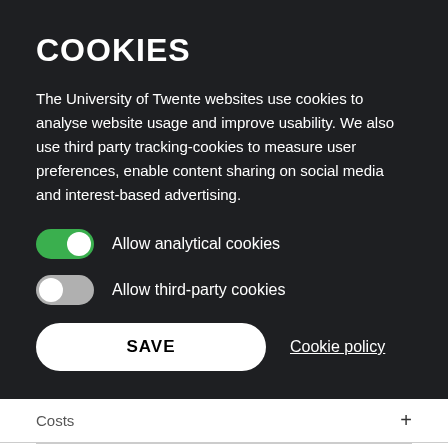COOKIES
The University of Twente websites use cookies to analyse website usage and improve usability. We also use third party tracking-cookies to measure user preferences, enable content sharing on social media and interest-based advertising.
Allow analytical cookies (toggle: on)
Allow third-party cookies (toggle: off)
SAVE | Cookie policy
Costs
Terms and conditions